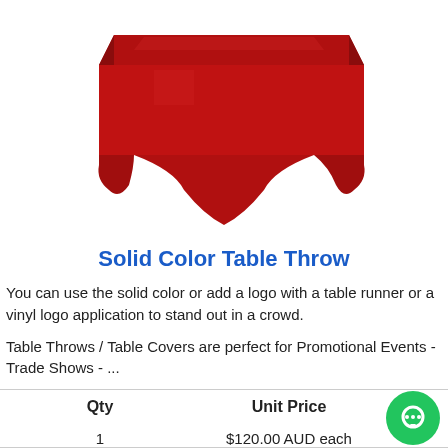[Figure (photo): A red solid color table throw draped over a rectangular table, shown in 3D product view on white background.]
Solid Color Table Throw
You can use the solid color or add a logo with a table runner or a vinyl logo application to stand out in a crowd.
Table Throws / Table Covers are perfect for Promotional Events - Trade Shows - ...
| Qty | Unit Price |
| --- | --- |
| 1 | $120.00 AUD each |